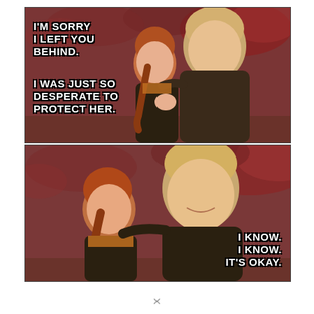[Figure (illustration): Two-panel meme from Frozen 2. Top panel shows Anna and Kristoff standing in an autumn forest with red/orange foliage. Text reads: 'I'M SORRY I LEFT YOU BEHIND. I WAS JUST SO DESPERATE TO PROTECT HER.' Bottom panel shows a closer view of Anna and Kristoff, Kristoff smiling warmly. Text reads: 'I KNOW. I KNOW. IT'S OKAY.']